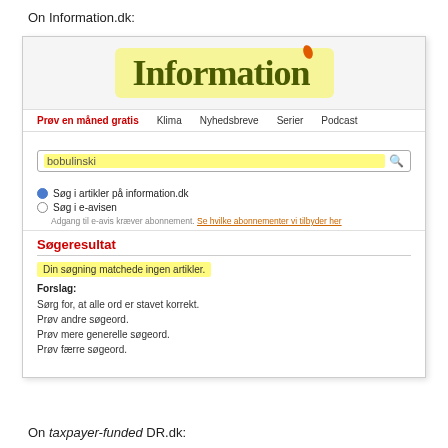On Information.dk:
[Figure (screenshot): Screenshot of Information.dk website showing a search for 'bobulinski' with no results. The page shows the Information logo on a yellow background, navigation links (Prøv en måned gratis, Klima, Nyhedsbreve, Serier, Podcast), a search box with 'bobulinski' highlighted in yellow, radio buttons for searching articles or e-avisen, and a search result section titled 'Søgeresultat' in red showing 'Din søgning matchede ingen artikler.' highlighted in yellow, followed by suggestions.]
On taxpayer-funded DR.dk: